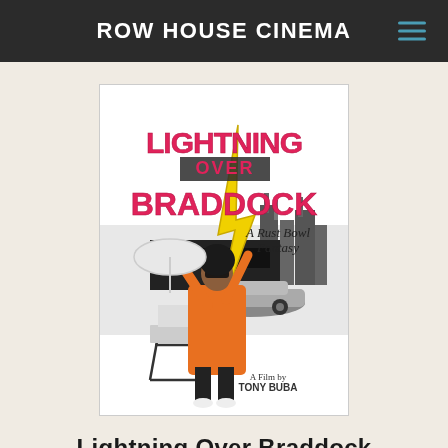ROW HOUSE CINEMA
[Figure (illustration): Movie poster for 'Lightning Over Braddock: A Rust Bowl Fantasy', a film by Tony Buba. The poster shows a man in an orange coat holding a white umbrella and a large yellow lightning bolt, with industrial buildings and a car in the background. The title text is stylized in red and pink letters.]
Lightning Over Braddock